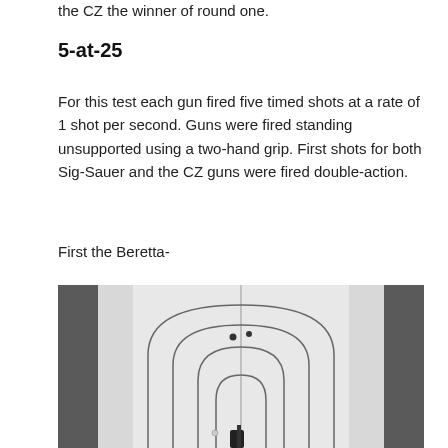the CZ the winner of round one.
5-at-25
For this test each gun fired five timed shots at a rate of 1 shot per second. Guns were fired standing unsupported using a two-hand grip. First shots for both Sig-Sauer and the CZ guns were fired double-action.
First the Beretta-
[Figure (photo): Black and white photo of a shooting target showing concentric rings/zones on a white target backer, with dark marks indicating bullet holes near the center, viewed from front]